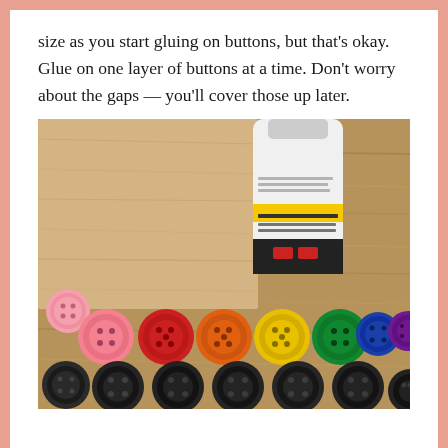size as you start gluing on buttons, but that's okay. Glue on one layer of buttons at a time. Don't worry about the gaps — you'll cover those up later.
[Figure (photo): Photo of colorful buttons arranged in rows on a wooden surface next to a bottle of glue. Top row has pink, red, orange, yellow, green, blue, and purple buttons. Bottom row has black buttons.]